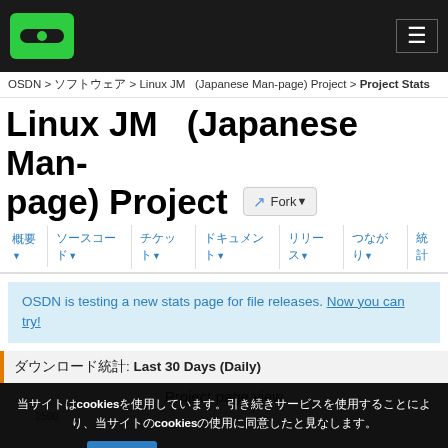[Figure (logo): OSDN green logo on black header bar with hamburger menu icon]
OSDN > ソフトウェア > Linux JM   (Japanese Man-page) Project > Project Stats
Linux JM   (Japanese Man-page) Project
Fork▼
概要▼  ソース▼  チケット▼  ドキュメント▼  リリース▼  つながり▼  統計
OSDN is testing a new stats page for file releases. Now you can try!
ダウンロード統計: Last 30 Days (Daily)
Project page view
当サイトはcookiesを使用しています。引き続きサービスを使用することにより、cookiesの使用に同意したと見なします。
同意  プライバシーポリシー 詳細情報